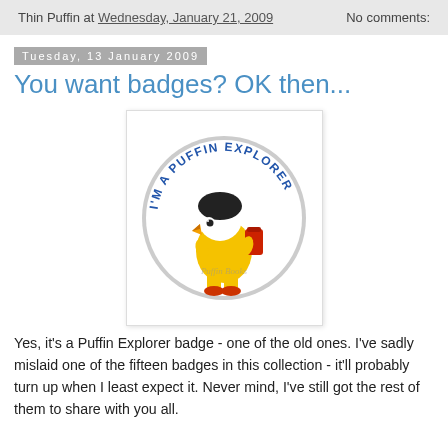Thin Puffin at Wednesday, January 21, 2009   No comments:
Tuesday, 13 January 2009
You want badges? OK then...
[Figure (illustration): A round pin badge reading 'I'M A PUFFIN EXPLORER' in blue text around the top arc, featuring a cartoon puffin character dressed in a yellow explorer outfit with a red backpack, on a white background with a grey circle border. A faint watermark text reads 'Puffin Books' across the middle.]
Yes, it's a Puffin Explorer badge - one of the old ones. I've sadly mislaid one of the fifteen badges in this collection - it'll probably turn up when I least expect it. Never mind, I've still got the rest of them to share with you all.